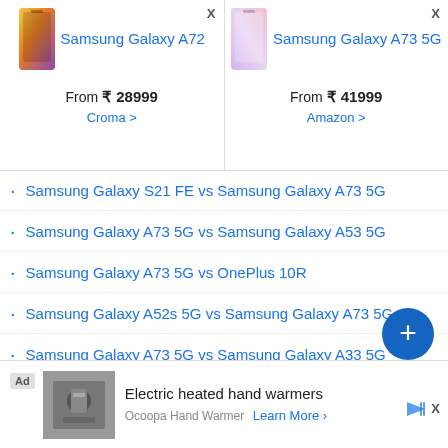[Figure (screenshot): Samsung Galaxy A72 phone product card with image and price From ₹ 28999 at Croma]
[Figure (screenshot): Samsung Galaxy A73 5G phone product card with image and price From ₹ 41999 at Amazon]
Samsung Galaxy S21 FE vs Samsung Galaxy A73 5G
Samsung Galaxy A73 5G vs Samsung Galaxy A53 5G
Samsung Galaxy A73 5G vs OnePlus 10R
Samsung Galaxy A52s 5G vs Samsung Galaxy A73 5G
Samsung Galaxy A73 5G vs Samsung Galaxy A33 5G
Samsung Galaxy A73 5G vs Samsung Galaxy M53 5G
Samsung Galaxy S22 vs Samsung Galaxy A73 5G
Xiaomi 11T Pro 5G vs Samsung Galaxy A73 5G
Samsung Galaxy M52 5G vs Samsung Galaxy A73 5G
OnePlus 10 Pro vs Samsung Galaxy A73 5G
[Figure (infographic): Advertisement: Electric heated hand warmers by Ocoopa Hand Warmer with Learn More button]